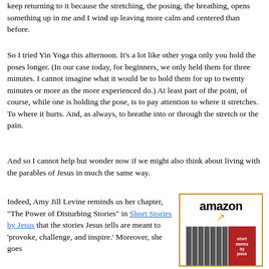keep returning to it because the stretching, the posing, the breathing, opens something up in me and I wind up leaving more calm and centered than before.
So I tried Yin Yoga this afternoon. It's a lot like other yoga only you hold the poses longer. (In our case today, for beginners, we only held them for three minutes. I cannot imagine what it would be to hold them for up to twenty minutes or more as the more experienced do.) At least part of the point, of course, while one is holding the pose, is to pay attention to where it stretches. To where it hurts. And, as always, to breathe into or through the stretch or the pain.
And so I cannot help but wonder now if we might also think about living with the parables of Jesus in much the same way.
Indeed, Amy Jill Levine reminds us her chapter, "The Power of Disturbing Stories" in Short Stories by Jesus that the stories Jesus tells are meant to 'provoke, challenge, and inspire.' Moreover, she goes
[Figure (other): Amazon advertisement box with orange border showing Amazon logo with arrow and a book cover for 'Short Stories by Jesus' shown as multiple spines with red cover]